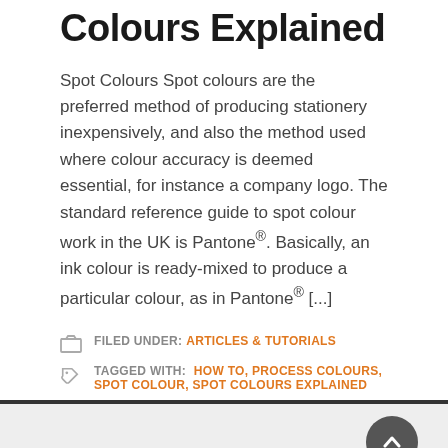Colours Explained
Spot Colours Spot colours are the preferred method of producing stationery inexpensively, and also the method used where colour accuracy is deemed essential, for instance a company logo. The standard reference guide to spot colour work in the UK is Pantone®. Basically, an ink colour is ready-mixed to produce a particular colour, as in Pantone® [...]
FILED UNDER: ARTICLES & TUTORIALS
TAGGED WITH: HOW TO, PROCESS COLOURS, SPOT COLOUR, SPOT COLOURS EXPLAINED
Original Art Canvas Prints